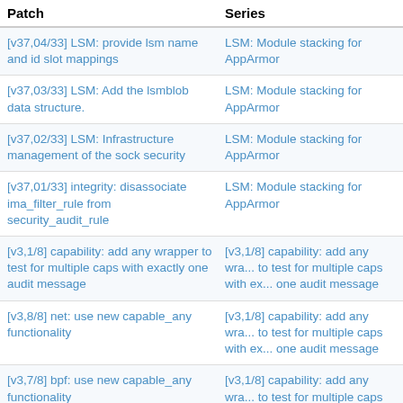| Patch | Series |
| --- | --- |
| [v37,04/33] LSM: provide lsm name and id slot mappings | LSM: Module stacking for AppArmor |
| [v37,03/33] LSM: Add the lsmblob data structure. | LSM: Module stacking for AppArmor |
| [v37,02/33] LSM: Infrastructure management of the sock security | LSM: Module stacking for AppArmor |
| [v37,01/33] integrity: disassociate ima_filter_rule from security_audit_rule | LSM: Module stacking for AppArmor |
| [v3,1/8] capability: add any wrapper to test for multiple caps with exactly one audit message | [v3,1/8] capability: add any wrapper to test for multiple caps with exactly one audit message |
| [v3,8/8] net: use new capable_any functionality | [v3,1/8] capability: add any wrapper to test for multiple caps with exactly one audit message |
| [v3,7/8] bpf: use new capable_any functionality | [v3,1/8] capability: add any wrapper to test for multiple caps with exactly one audit message |
| [v3,6/8] kernel: use new capable_any functionality | [v3,1/8] capability: add any wrapper to test for multiple caps with ex... |